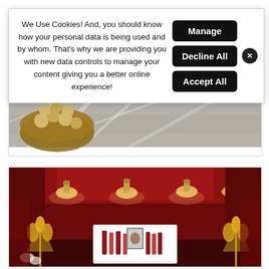We Use Cookies! And, you should know how your personal data is being used and by whom. That's why we are providing you with new data controls to manage your content giving you a better online experience!
[Figure (other): Cookie consent buttons: Manage, Decline All, Accept All, and a close (x) button]
[Figure (photo): Interior photo showing a patterned area rug on a hardwood floor with a coffee table, basket with decorative balls, and chairs in the background]
[Figure (photo): Interior photo of a dramatic red room with pendant lights on the ceiling, a white bar/sideboard with bottles and a framed picture, and golden floral decorations on either side]